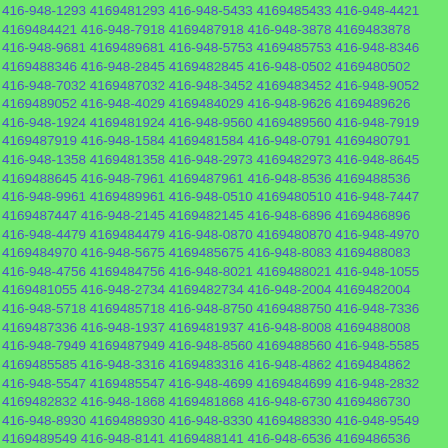416-948-1293 4169481293 416-948-5433 4169485433 416-948-4421 4169484421 416-948-7918 4169487918 416-948-3878 4169483878 416-948-9681 4169489681 416-948-5753 4169485753 416-948-8346 4169488346 416-948-2845 4169482845 416-948-0502 4169480502 416-948-7032 4169487032 416-948-3452 4169483452 416-948-9052 4169489052 416-948-4029 4169484029 416-948-9626 4169489626 416-948-1924 4169481924 416-948-9560 4169489560 416-948-7919 4169487919 416-948-1584 4169481584 416-948-0791 4169480791 416-948-1358 4169481358 416-948-2973 4169482973 416-948-8645 4169488645 416-948-7961 4169487961 416-948-8536 4169488536 416-948-9961 4169489961 416-948-0510 4169480510 416-948-7447 4169487447 416-948-2145 4169482145 416-948-6896 4169486896 416-948-4479 4169484479 416-948-0870 4169480870 416-948-4970 4169484970 416-948-5675 4169485675 416-948-8083 4169488083 416-948-4756 4169484756 416-948-8021 4169488021 416-948-1055 4169481055 416-948-2734 4169482734 416-948-2004 4169482004 416-948-5718 4169485718 416-948-8750 4169488750 416-948-7336 4169487336 416-948-1937 4169481937 416-948-8008 4169488008 416-948-7949 4169487949 416-948-8560 4169488560 416-948-5585 4169485585 416-948-3316 4169483316 416-948-4862 4169484862 416-948-5547 4169485547 416-948-4699 4169484699 416-948-2832 4169482832 416-948-1868 4169481868 416-948-6730 4169486730 416-948-8930 4169488930 416-948-8330 4169488330 416-948-9549 4169489549 416-948-8141 4169488141 416-948-6536 4169486536 416-948-2628 4169482628 416-948-4729 4169484729 416-948-